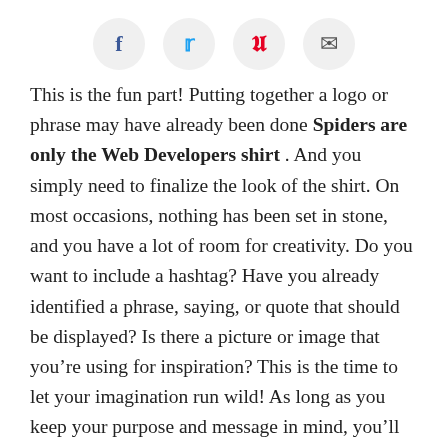[Figure (other): Social sharing icons bar showing Facebook, Twitter, Pinterest, and email icons in circular buttons]
This is the fun part! Putting together a logo or phrase may have already been done Spiders are only the Web Developers shirt . And you simply need to finalize the look of the shirt. On most occasions, nothing has been set in stone, and you have a lot of room for creativity. Do you want to include a hashtag? Have you already identified a phrase, saying, or quote that should be displayed? Is there a picture or image that you’re using for inspiration? This is the time to let your imagination run wild! As long as you keep your purpose and message in mind, you’ll do an excellent job. Don’t be afraid to